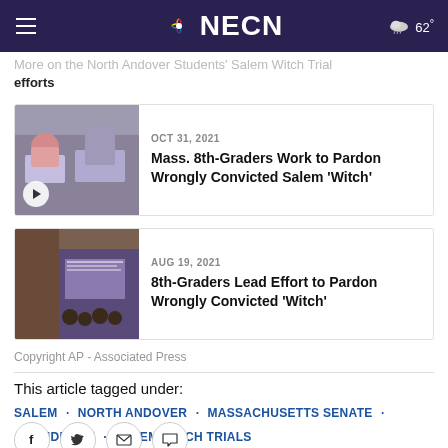NECN
More on the North Andover Students' Salem Witch Trial efforts
[Figure (screenshot): Thumbnail image of students working on laptops]
OCT 31, 2021
Mass. 8th-Graders Work to Pardon Wrongly Convicted Salem 'Witch'
[Figure (screenshot): Thumbnail image of Salem Witch Trial exhibit]
AUG 19, 2021
8th-Graders Lead Effort to Pardon Wrongly Convicted 'Witch'
Copyright AP - Associated Press
This article tagged under:
SALEM · NORTH ANDOVER · MASSACHUSETTS SENATE · AMENDMENT · SALEM WITCH TRIALS